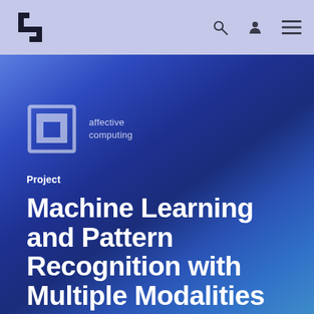[Figure (screenshot): Navigation bar with a stylized bracket/step logo on the left and three icons (search, user, menu) on the right, on a periwinkle/lavender background]
[Figure (logo): Affective Computing group logo: a square bracket-like icon in light grey with 'affective computing' text beside it]
Project
Machine Learning and Pattern Recognition with Multiple Modalities